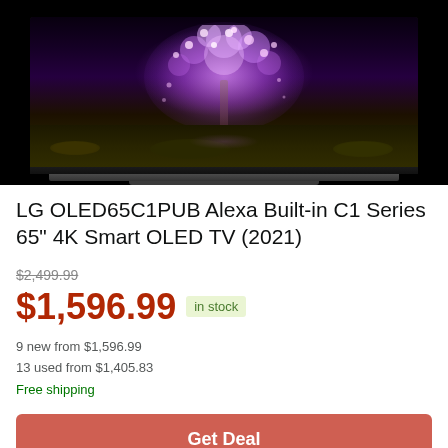[Figure (photo): LG OLED TV with glowing purple cherry blossom tree displayed on screen, shown from front with stand]
LG OLED65C1PUB Alexa Built-in C1 Series 65" 4K Smart OLED TV (2021)
$2,499.99 (strikethrough original price)
$1,596.99  in stock
9 new from $1,596.99
13 used from $1,405.83
Free shipping
Get Deal